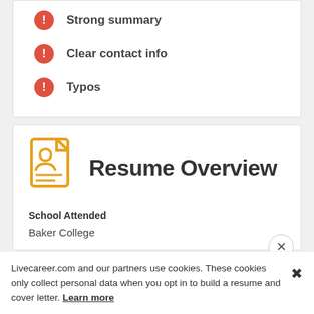Strong summary
Clear contact info
Typos
Resume Overview
School Attended
Baker College
Livecareer.com and our partners use cookies. These cookies only collect personal data when you opt in to build a resume and cover letter. Learn more